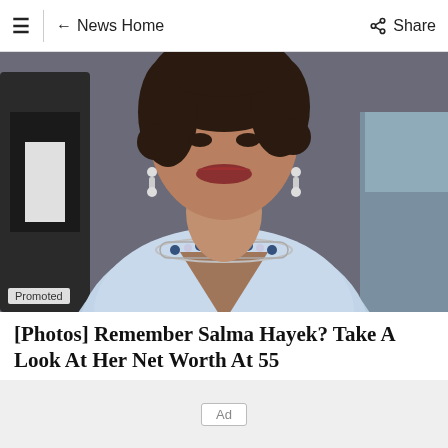≡ | ← News Home   Share
[Figure (photo): Photo of Salma Hayek smiling, wearing a light blue fuzzy sweater and a diamond and sapphire necklace with matching earrings, at a formal event. Dark curly hair, red lips. Background shows other people in formal attire.]
Promoted
[Photos] Remember Salma Hayek? Take A Look At Her Net Worth At 55
Fruitiy
×
Ad